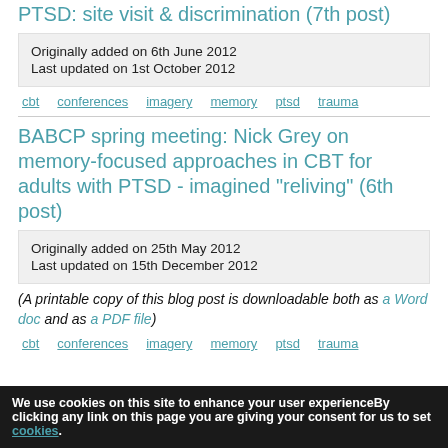PTSD: site visit & discrimination (7th post)
Originally added on 6th June 2012
Last updated on 1st October 2012
cbt   conferences   imagery   memory   ptsd   trauma
BABCP spring meeting: Nick Grey on memory-focused approaches in CBT for adults with PTSD - imagined "reliving" (6th post)
Originally added on 25th May 2012
Last updated on 15th December 2012
(A printable copy of this blog post is downloadable both as a Word doc and as a PDF file)
cbt   conferences   imagery   memory   ptsd   trauma
We use cookies on this site to enhance your user experienceBy clicking any link on this page you are giving your consent for us to set cookies.